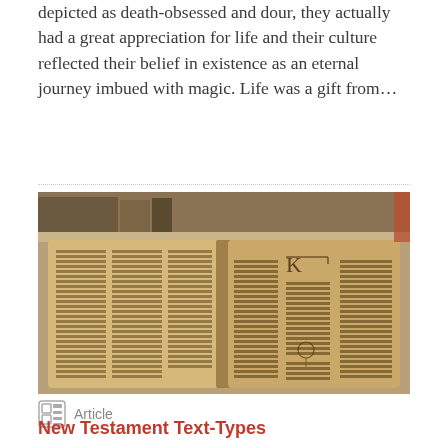depicted as death-obsessed and dour, they actually had a great appreciation for life and their culture reflected their belief in existence as an eternal journey imbued with magic. Life was a gift from…
[Figure (photo): Open ancient manuscript book with handwritten text in columns, photographed from above on a wooden surface]
Article
New Testament Text-Types
The books of the New Testament were written in the 1st century CE. As Christianity spread in the